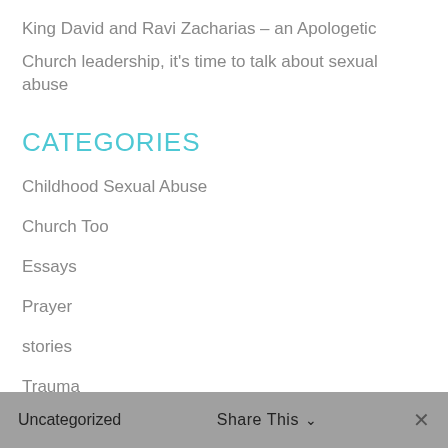King David and Ravi Zacharias – an Apologetic
Church leadership, it's time to talk about sexual abuse
CATEGORIES
Childhood Sexual Abuse
Church Too
Essays
Prayer
stories
Trauma
Uncategorized    Share This ∨    ✕